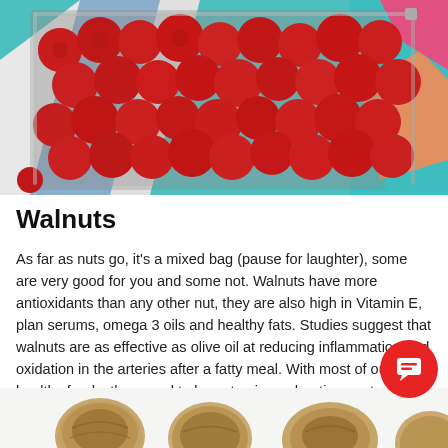[Figure (photo): Overhead view of fresh red raspberries in a metal tray on a striped textile background with teal, white, blue, orange and pink colors]
Walnuts
As far as nuts go, it's a mixed bag (pause for laughter), some are very good for you and some not. Walnuts have more antioxidants than any other nut, they are also high in Vitamin E, plan serums, omega 3 oils and healthy fats. Studies suggest that walnuts are as effective as olive oil at reducing inflammation and oxidation in the arteries after a fatty meal. With most of our healthy foods, they need to be eaten in moderation, as too many is not good. It is recommended to eat around 8 walnuts a day to achieve the b
[Figure (photo): Close-up photo of whole walnuts on a white surface, partially visible at the bottom of the page]